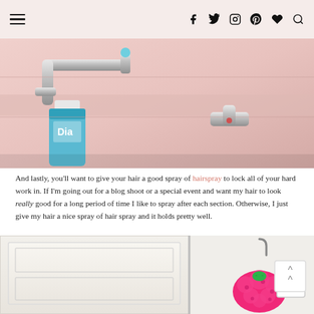Navigation bar with hamburger menu and social icons (Facebook, Twitter, Instagram, Pinterest, heart, search)
[Figure (photo): Close-up photo of a pink bathroom sink with chrome faucet and blue Dial soap bottle]
And lastly, you'll want to give your hair a good spray of hairspray to lock all of your hard work in. If I'm going out for a blog shoot or a special event and want my hair to look really good for a long period of time I like to spray after each section. Otherwise, I just give my hair a nice spray of hair spray and it holds pretty well.
[Figure (photo): Photo of a white door with a pink cupcake-shaped loofah hanging on a hook, and a white electrical outlet on the wall]